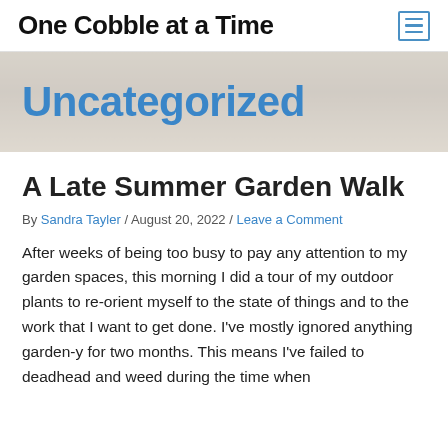One Cobble at a Time
Uncategorized
A Late Summer Garden Walk
By Sandra Tayler / August 20, 2022 / Leave a Comment
After weeks of being too busy to pay any attention to my garden spaces, this morning I did a tour of my outdoor plants to re-orient myself to the state of things and to the work that I want to get done. I've mostly ignored anything garden-y for two months. This means I've failed to deadhead and weed during the time when